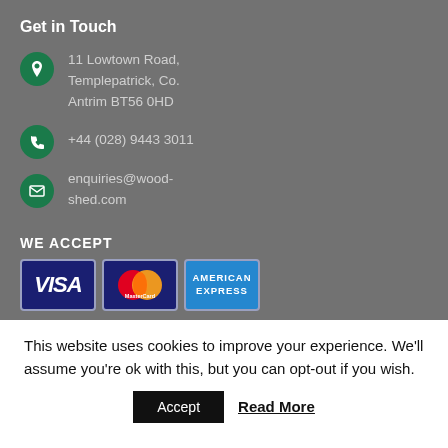Get in Touch
11 Lowtown Road, Templepatrick, Co. Antrim BT56 0HD
+44 (028) 9443 3011
enquiries@wood-shed.com
WE ACCEPT
[Figure (infographic): Payment method logos: Visa, MasterCard, American Express]
This website uses cookies to improve your experience. We'll assume you're ok with this, but you can opt-out if you wish.
Accept   Read More